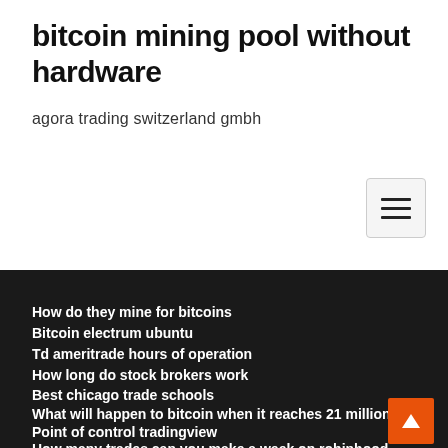bitcoin mining pool without hardware
agora trading switzerland gmbh
How do they mine for bitcoins
Bitcoin electrum ubuntu
Td ameritrade hours of operation
How long do stock brokers work
Best chicago trade schools
What will happen to bitcoin when it reaches 21 million
Point of control tradingview
How many trades can you make a week on robinhood